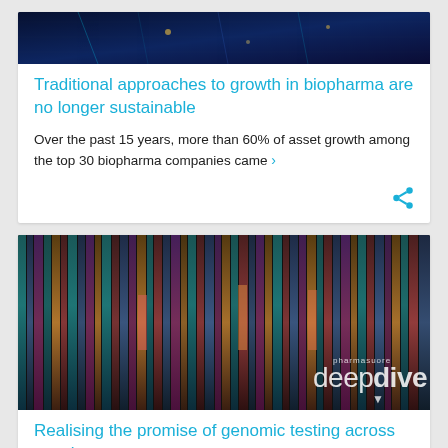[Figure (photo): Dark blue digital/technology background image (partial, cropped at top)]
Traditional approaches to growth in biopharma are no longer sustainable
Over the past 15 years, more than 60% of asset growth among the top 30 biopharma companies came ›
[Figure (photo): Colorful vertical streaks/lines resembling genomic data visualization with 'pharmasuore deepdive' overlay text and arrow]
Realising the promise of genomic testing across oncology